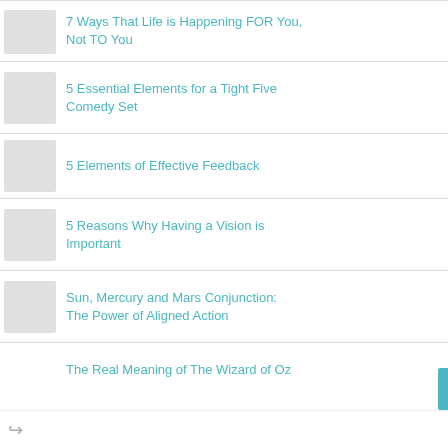7 Ways That Life is Happening FOR You, Not TO You
5 Essential Elements for a Tight Five Comedy Set
5 Elements of Effective Feedback
5 Reasons Why Having a Vision is Important
Sun, Mercury and Mars Conjunction: The Power of Aligned Action
The Real Meaning of The Wizard of Oz